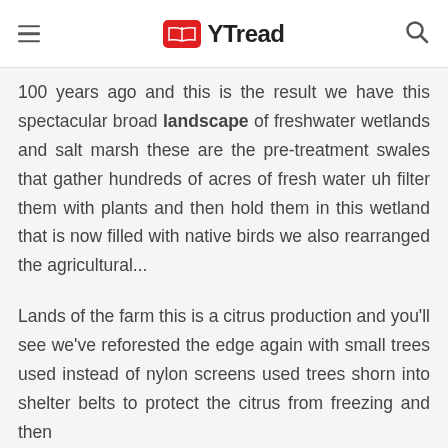YTread
100 years ago and this is the result we have this spectacular broad landscape of freshwater wetlands and salt marsh these are the pre-treatment swales that gather hundreds of acres of fresh water uh filter them with plants and then hold them in this wetland that is now filled with native birds we also rearranged the agricultural...
Lands of the farm this is a citrus production and you'll see we've reforested the edge again with small trees used instead of nylon screens used trees shorn into shelter belts to protect the citrus from freezing and then